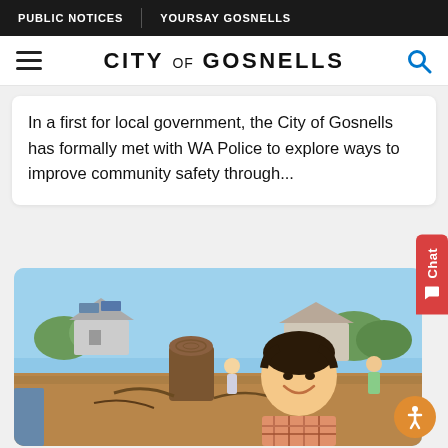PUBLIC NOTICES | YOURSAY GOSNELLS
CITY OF GOSNELLS
In a first for local government, the City of Gosnells has formally met with WA Police to explore ways to improve community safety through...
[Figure (photo): Community members working outdoors on landscaping or land clearing activity, with a smiling person in foreground wearing a plaid shirt, tree stumps and mulch visible, houses in background under blue sky.]